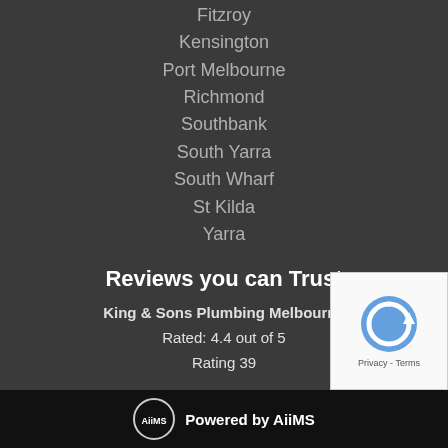Fitzroy
Kensington
Port Melbourne
Richmond
Southbank
South Yarra
South Wharf
St Kilda
Yarra
Reviews you can Trust
King & Sons Plumbing Melbourne
Rated: 4.4 out of 5
Rating 39
Powered by AiiMS